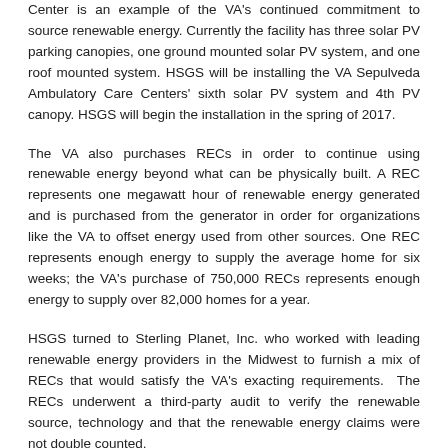Center is an example of the VA's continued commitment to source renewable energy. Currently the facility has three solar PV parking canopies, one ground mounted solar PV system, and one roof mounted system. HSGS will be installing the VA Sepulveda Ambulatory Care Centers' sixth solar PV system and 4th PV canopy. HSGS will begin the installation in the spring of 2017.
The VA also purchases RECs in order to continue using renewable energy beyond what can be physically built. A REC represents one megawatt hour of renewable energy generated and is purchased from the generator in order for organizations like the VA to offset energy used from other sources. One REC represents enough energy to supply the average home for six weeks; the VA's purchase of 750,000 RECs represents enough energy to supply over 82,000 homes for a year.
HSGS turned to Sterling Planet, Inc. who worked with leading renewable energy providers in the Midwest to furnish a mix of RECs that would satisfy the VA's exacting requirements. The RECs underwent a third-party audit to verify the renewable source, technology and that the renewable energy claims were not double counted.